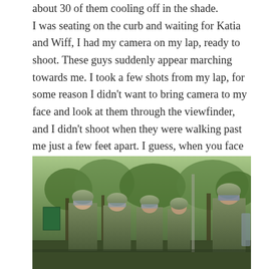about 30 of them cooling off in the shade. I was seating on the curb and waiting for Katia and Wiff, I had my camera on my lap, ready to shoot. These guys suddenly appear marching towards me. I took a few shots from my lap, for some reason I didn't want to bring camera to my face and look at them through the viewfinder, and I didn't shoot when they were walking past me just a few feet apart. I guess, when you face with military policy, who has automatic guns and other weaponry, you try to make safe choices and not aggravate them by taking photos with large camera. Who knows what type of orders they have.
[Figure (photo): Several soldiers in camouflage uniforms and helmets with face shields, marching or standing in a street with trees in the background.]